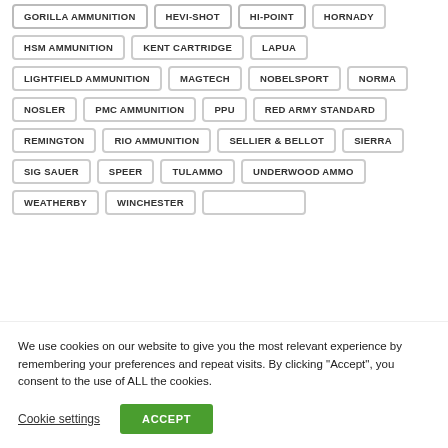GORILLA AMMUNITION
HEVI-SHOT
HI-POINT
HORNADY
HSM AMMUNITION
KENT CARTRIDGE
LAPUA
LIGHTFIELD AMMUNITION
MAGTECH
NOBELSPORT
NORMA
NOSLER
PMC AMMUNITION
PPU
RED ARMY STANDARD
REMINGTON
RIO AMMUNITION
SELLIER & BELLOT
SIERRA
SIG SAUER
SPEER
TULAMMO
UNDERWOOD AMMO
WEATHERBY
WINCHESTER
We use cookies on our website to give you the most relevant experience by remembering your preferences and repeat visits. By clicking “Accept”, you consent to the use of ALL the cookies.
Cookie settings
ACCEPT